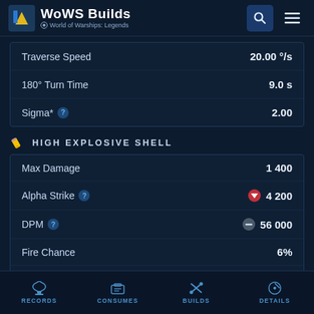WoWS Builds — World of Warships: Legends
| Stat | Value |
| --- | --- |
| Traverse Speed | 20.00 °/s |
| 180° Turn Time | 9.0 s |
| Sigma* | 2.00 |
HIGH EXPLOSIVE SHELL
| Stat | Value |
| --- | --- |
| Max Damage | 1 400 |
| Alpha Strike | 4 200 |
| DPM | 56 000 |
| Fire Chance | 6% |
| Fires Per Minute | 2.26 |
RECORDS  CONSUMES  BUILDS  DETAILS